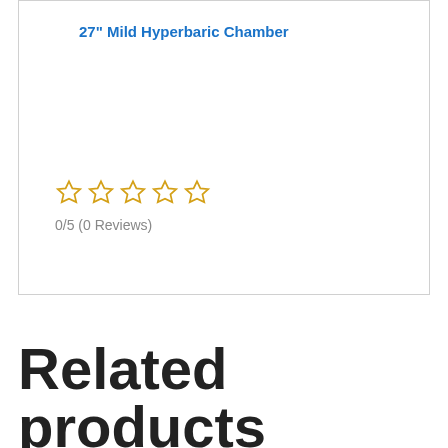27" Mild Hyperbaric Chamber
0/5 (0 Reviews)
Related products